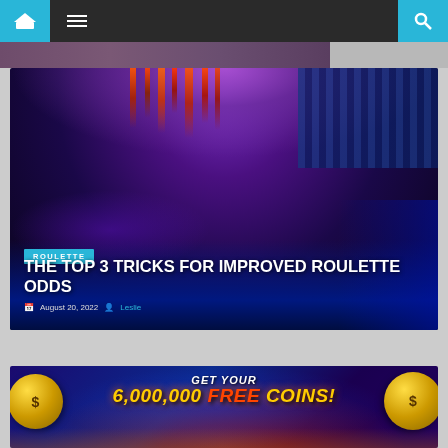Navigation bar with home icon, menu icon, and search icon
[Figure (photo): Cropped top portion of a previous article image]
[Figure (photo): Casino interior with purple and blue lighting, slot machines and gaming tables visible]
ROULETTE
THE TOP 3 TRICKS FOR IMPROVED ROULETTE ODDS
August 20, 2022   Leslie
[Figure (photo): Promotional banner: GET YOUR 6,000,000 FREE COINS! with gold coins on colorful background]